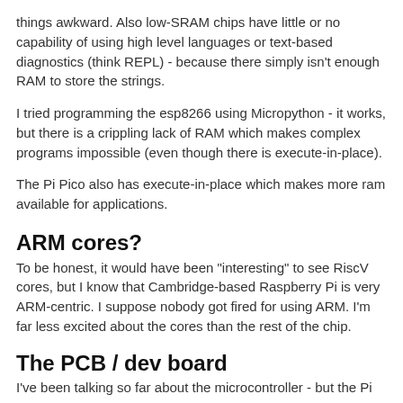things awkward. Also low-SRAM chips have little or no capability of using high level languages or text-based diagnostics (think REPL) - because there simply isn't enough RAM to store the strings.
I tried programming the esp8266 using Micropython - it works, but there is a crippling lack of RAM which makes complex programs impossible (even though there is execute-in-place).
The Pi Pico also has execute-in-place which makes more ram available for applications.
ARM cores?
To be honest, it would have been "interesting" to see RiscV cores, but I know that Cambridge-based Raspberry Pi is very ARM-centric. I suppose nobody got fired for using ARM. I'm far less excited about the cores than the rest of the chip.
The PCB / dev board
I've been talking so far about the microcontroller - but the Pi